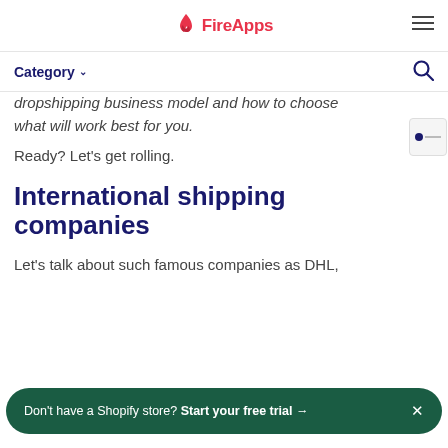FireApps
Category
dropshipping business model and how to choose what will work best for you.
Ready? Let's get rolling.
International shipping companies
Let's talk about such famous companies as DHL,
Don't have a Shopify store? Start your free trial →  ×
depends on the country of destination), but their